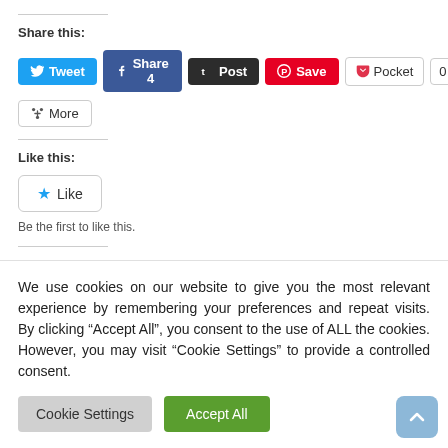Share this:
[Figure (screenshot): Social sharing buttons: Tweet (Twitter, blue), Share 4 (Facebook, dark blue), Post (Tumblr, black), Save (Pinterest, red), Pocket (white/gray border), count 0, More button]
Like this:
[Figure (screenshot): Like button with blue star icon]
Be the first to like this.
We use cookies on our website to give you the most relevant experience by remembering your preferences and repeat visits. By clicking “Accept All”, you consent to the use of ALL the cookies. However, you may visit "Cookie Settings" to provide a controlled consent.
Cookie Settings
Accept All